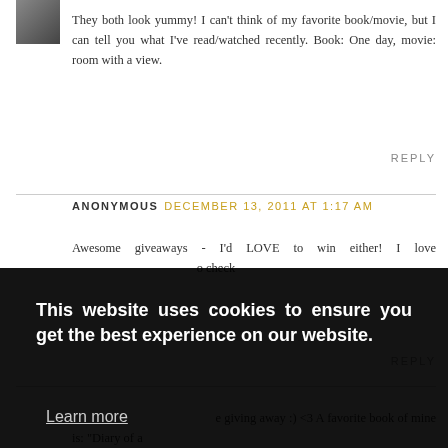[Figure (photo): Small avatar thumbnail of a person]
They both look yummy! I can't think of my favorite book/movie, but I can tell you what I've read/watched recently. Book: One day, movie: room with a view.
REPLY
ANONYMOUS DECEMBER 13, 2011 AT 1:17 AM
Awesome giveaways - I'd LOVE to win either! I love ... o check
REPLY
This website uses cookies to ensure you get the best experience on our website. Learn more
Got it!
e giving away :) <3 A favorite book of mine is: "Diary of a